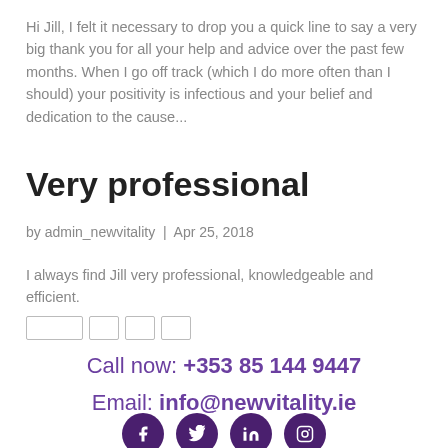Hi Jill, I felt it necessary to drop you a quick line to say a very big thank you for all your help and advice over the past few months. When I go off track (which I do more often than I should) your positivity is infectious and your belief and dedication to the cause...
Very professional
by admin_newvitality | Apr 25, 2018
I always find Jill very professional, knowledgeable and efficient.
Call now: +353 85 144 9447
Email: info@newvitality.ie